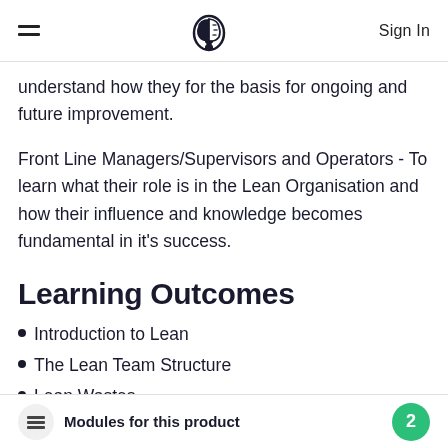Sign In
understand how they for the basis for ongoing and future improvement.
Front Line Managers/Supervisors and Operators - To learn what their role is in the Lean Organisation and how their influence and knowledge becomes fundamental in it's success.
Learning Outcomes
Introduction to Lean
The Lean Team Structure
Lean Wastes
Modules for this product 2